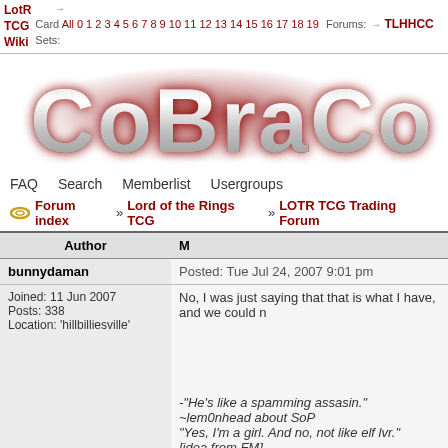LotR TCG Wiki | Card Sets: All 0 1 2 3 4 5 6 7 8 9 10 11 12 13 14 15 16 17 18 19 | Forums: TLHHCC
[Figure (logo): COBRA logo in large metallic red/silver text with glow effect]
FAQ  Search  Memberlist  Usergroups
Forum index » Lord of the Rings TCG » LOTR TCG Trading Forum
| Author | M |
| --- | --- |
| bunnydaman | Posted: Tue Jul 24, 2007 9:01 pm |
| Joined: 11 Jun 2007
Posts: 338
Location: 'hillbilliesville' | No, I was just saying that that is what I have, and we could n

-"He's like a spamming assasin." ~lem0nhead about SoP
"Yes, I'm a girl. And no, not like elf lvr."
[idea from FM] |
| Back to top |  |